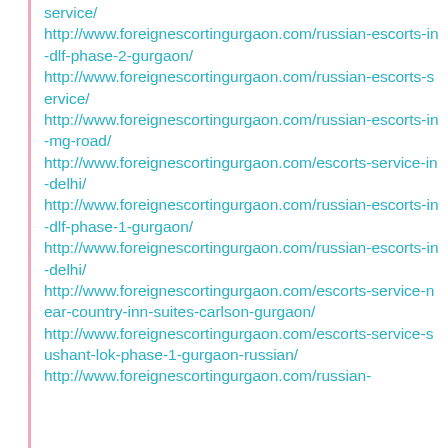service/
http://www.foreignescortingurgaon.com/russian-escorts-in-dlf-phase-2-gurgaon/
http://www.foreignescortingurgaon.com/russian-escorts-service/
http://www.foreignescortingurgaon.com/russian-escorts-in-mg-road/
http://www.foreignescortingurgaon.com/escorts-service-in-delhi/
http://www.foreignescortingurgaon.com/russian-escorts-in-dlf-phase-1-gurgaon/
http://www.foreignescortingurgaon.com/russian-escorts-in-delhi/
http://www.foreignescortingurgaon.com/escorts-service-near-country-inn-suites-carlson-gurgaon/
http://www.foreignescortingurgaon.com/escorts-service-sushant-lok-phase-1-gurgaon-russian/
http://www.foreignescortingurgaon.com/russian-